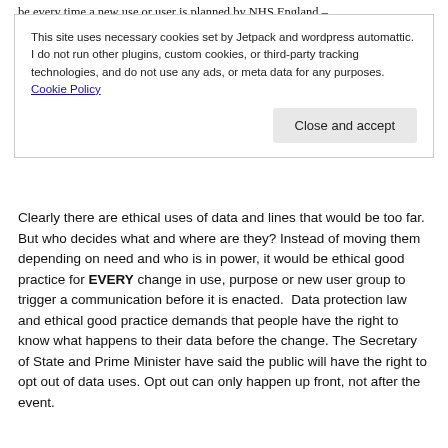be every time a new use or user is planned by NHS England –
This site uses necessary cookies set by Jetpack and wordpress automattic. I do not run other plugins, custom cookies, or third-party tracking technologies, and do not use any ads, or meta data for any purposes. Cookie Policy  Close and accept
Clearly there are ethical uses of data and lines that would be too far. But who decides what and where are they? Instead of moving them depending on need and who is in power, it would be ethical good practice for EVERY change in use, purpose or new user group to trigger a communication before it is enacted.  Data protection law and ethical good practice demands that people have the right to know what happens to their data before the change. The Secretary of State and Prime Minister have said the public will have the right to opt out of data uses. Opt out can only happen up front, not after the event.